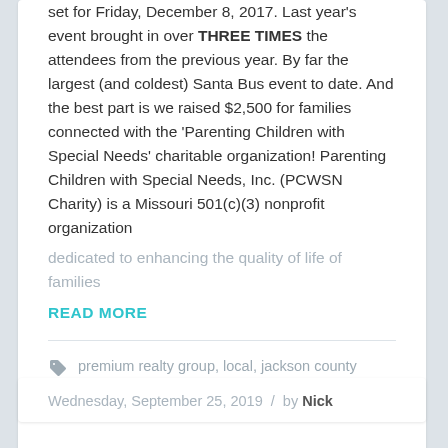set for Friday, December 8, 2017. Last year's event brought in over THREE TIMES the attendees from the previous year. By far the largest (and coldest) Santa Bus event to date. And the best part is we raised $2,500 for families connected with the 'Parenting Children with Special Needs' charitable organization! Parenting Children with Special Needs, Inc. (PCWSN Charity) is a Missouri 501(c)(3) nonprofit organization
dedicated to enhancing the quality of life of families
READ MORE
premium realty group, local, jackson county missouri, blue springs missouri, community events, kansas city events
Wednesday, September 25, 2019  /  by Nick